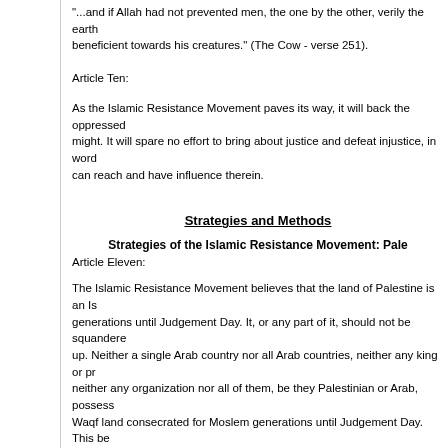"...and if Allah had not prevented men, the one by the other, verily the earth would have been corrupted; but Allah is beneficient towards his creatures." (The Cow - verse 251).
Article Ten:
As the Islamic Resistance Movement paves its way, it will back the oppressed and support the wronged with all its might. It will spare no effort to bring about justice and defeat injustice, in word and deed, in this place and everywhere it can reach and have influence therein.
Strategies and Methods
Strategies of the Islamic Resistance Movement: Palestine
Article Eleven:
The Islamic Resistance Movement believes that the land of Palestine is an Islamic Waqf consecrated for future Moslem generations until Judgement Day. It, or any part of it, should not be squandered: it, or any part of it, should not be given up. Neither a single Arab country nor all Arab countries, neither any king or president, nor all the kings and presidents, neither any organization nor all of them, be they Palestinian or Arab, possess the right to do that. Palestine is an Islamic Waqf land consecrated for Moslem generations until Judgement Day. This being so, who could claim to have the right to represent Moslem generations till Judgement Day?
This is the law governing the land of Palestine in the Islamic Sharia (law) and the same goes for any land the Moslems have conquered by force, because during the times of (Islamic) conquests, the Moslems consecrated these lands to Moslem generations till the Day of Judgement.
It happened like this: When the leaders of the Islamic armies conquered Syria and Iraq, they asked the Caliph of the Moslems, Umar bin-el-Khatab, asking for his advice concerning the conquered land - whether to divide it among the soldiers, or leave it for its owners, or what? After consultations and